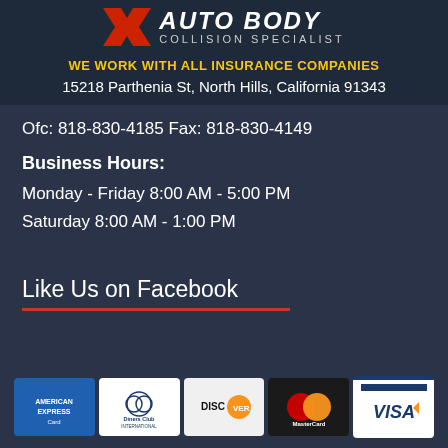[Figure (logo): Auto Body Collision Specialist logo with red chevron/X mark and text 'AUTO BODY COLLISION SPECIALIST']
WE WORK WITH ALL INSURANCE COMPANIES
15218 Parthenia St, North Hills, California 91343
Ofc: 818-830-4185 Fax: 818-830-4149
Business Hours:
Monday - Friday 8:00 AM - 5:00 PM
Saturday 8:00 AM - 1:00 PM
Like Us on Facebook
[Figure (logo): Payment method logos: American Express Card, Diners Club International, Discover, MasterCard, Visa]